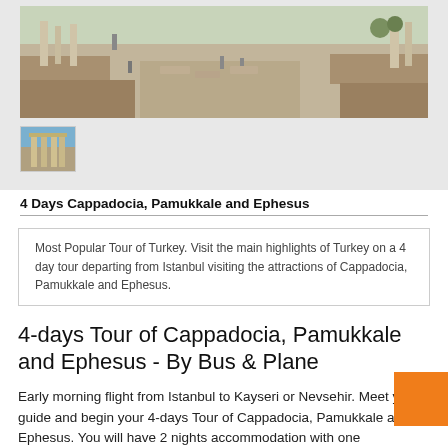[Figure (photo): Wide panoramic photo of ancient ruins site (likely Ephesus), showing stone pathways, columns and ruins with tourists walking around under clear sky.]
[Figure (photo): Small thumbnail image of ancient ruins or temple building with blue sky.]
4 Days Cappadocia, Pamukkale and Ephesus
Most Popular Tour of Turkey. Visit the main highlights of Turkey on a 4 day tour departing from Istanbul visiting the attractions of Cappadocia, Pamukkale and Ephesus.
4-days Tour of Cappadocia, Pamukkale and Ephesus - By Bus & Plane
Early morning flight from Istanbul to Kayseri or Nevsehir. Meet your guide and begin your 4-days Tour of Cappadocia, Pamukkale and Ephesus. You will have 2 nights accommodation with one